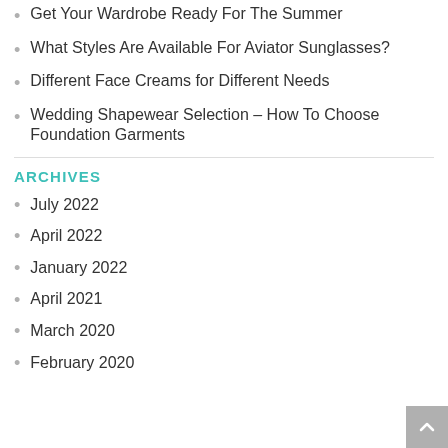Get Your Wardrobe Ready For The Summer
What Styles Are Available For Aviator Sunglasses?
Different Face Creams for Different Needs
Wedding Shapewear Selection – How To Choose Foundation Garments
ARCHIVES
July 2022
April 2022
January 2022
April 2021
March 2020
February 2020